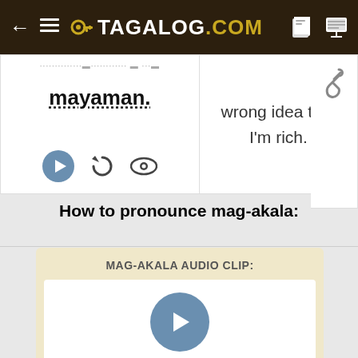TAGALOG.COM
mayaman.
wrong idea that I'm rich.
How to pronounce mag-akala:
MAG-AKALA AUDIO CLIP:
Markup Code:
[rec:9004]